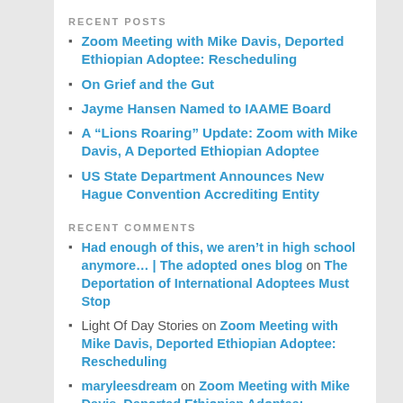RECENT POSTS
Zoom Meeting with Mike Davis, Deported Ethiopian Adoptee: Rescheduling
On Grief and the Gut
Jayme Hansen Named to IAAME Board
A “Lions Roaring” Update: Zoom with Mike Davis, A Deported Ethiopian Adoptee
US State Department Announces New Hague Convention Accrediting Entity
RECENT COMMENTS
Had enough of this, we aren’t in high school anymore… | The adopted ones blog on The Deportation of International Adoptees Must Stop
Light Of Day Stories on Zoom Meeting with Mike Davis, Deported Ethiopian Adoptee: Rescheduling
maryleesdream on Zoom Meeting with Mike Davis, Deported Ethiopian Adoptee: Rescheduling
ARCHIVE